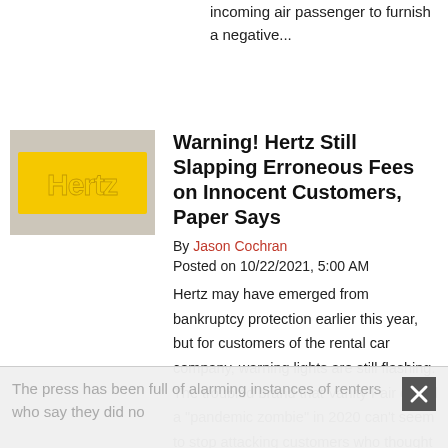incoming air passenger to furnish a negative...
[Figure (photo): Hertz logo sign on a building wall, yellow Hertz wordmark on beige/grey background]
Warning! Hertz Still Slapping Erroneous Fees on Innocent Customers, Paper Says
By Jason Cochran
Posted on 10/22/2021, 5:00 AM
Hertz may have emerged from bankruptcy protection earlier this year, but for customers of the rental car company, warning lights are still flashing. The troubled brand that Vanity Fair called a "pandemic zombie" in 2020 can't seem to stop attacking customers who thought their car rentals were safely laid to rest.
The press has been full of alarming instances of renters who say they did no